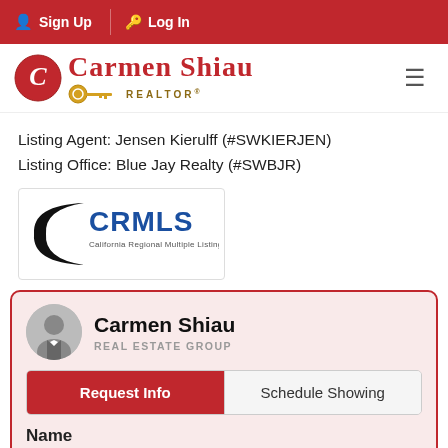Sign Up  Log In
[Figure (logo): Carmen Shiau Realtor logo with red script text and golden key icon]
Listing Agent: Jensen Kierulff (#SWKIERJEN)
Listing Office: Blue Jay Realty (#SWBJR)
[Figure (logo): CRMLS California Regional Multiple Listing Service, Inc. logo]
Carmen Shiau
REAL ESTATE GROUP
Request Info
Schedule Showing
Name